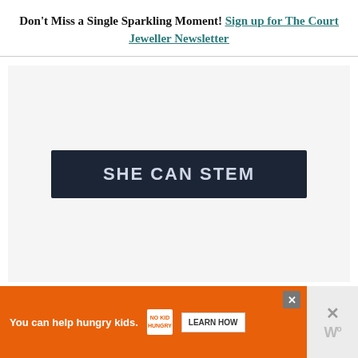Don't Miss a Single Sparkling Moment! Sign up for The Court Jeweller Newsletter
[Figure (advertisement): Light gray advertisement box containing a dark navy banner with bold white text reading 'SHE CAN STEM']
[Figure (advertisement): Orange banner advertisement for No Kid Hungry charity with text 'You can help hungry kids.' and a 'LEARN HOW' button; side panel with X close button and W logo]